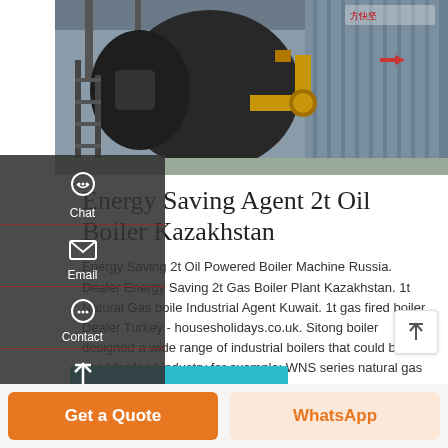[Figure (photo): Industrial boiler installation showing a large black cylindrical boiler unit with yellow piping and corrugated metal panels in a factory setting]
Energy Saving Agent 2t Oil Boiler Kazakhstan
Energy Saving 2t Oil Powered Boiler Machine Russia. Dealer Energy Saving 2t Gas Boiler Plant Kazakhstan. 1t Natural Gas boiler Industrial Agent Kuwait. 1t gas fired boiler Dealer Turkey - housesholidays.co.uk. Sitong boiler designed a wide range of industrial boilers that could be used for food industry for example: WNS series natural gas fired boiler YY(Q)W oil fired …